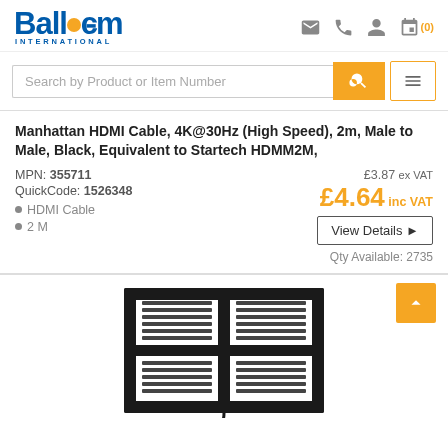Ballicom International
Search by Product or Item Number
Manhattan HDMI Cable, 4K@30Hz (High Speed), 2m, Male to Male, Black, Equivalent to Startech HDMM2M,
MPN: 355711
QuickCode: 1526348
• HDMI Cable
• 2 M
£3.87 ex VAT
£4.64 inc VAT
View Details
Qty Available: 2735
[Figure (photo): TV wall mount bracket in black, flat panel style, shown without a TV]